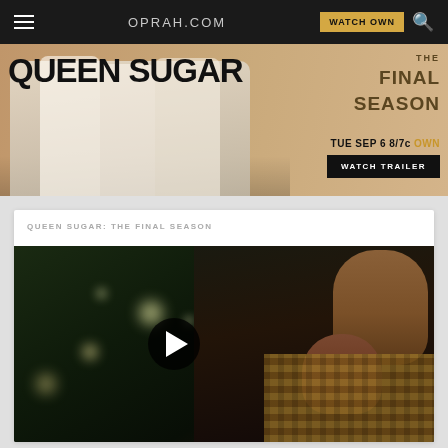OPRAH.COM
[Figure (photo): Queen Sugar: The Final Season advertisement banner. Groups of people in white outfits on left. Text: QUEEN SUGAR, THE FINAL SEASON, TUE SEP 6 8/7c OWN, WATCH TRAILER button.]
QUEEN SUGAR: THE FINAL SEASON
[Figure (photo): Video thumbnail showing two people in an intimate pose outdoors at night with bokeh bokeh light background. A play button overlay in the center.]